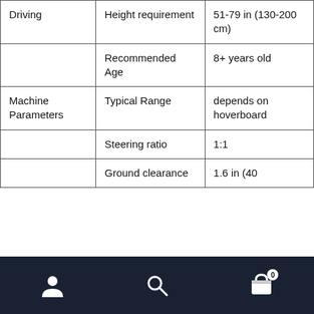| Driving | Height requirement | 51-79 in (130-200 cm) |
|  | Recommended Age | 8+ years old |
| Machine Parameters | Typical Range | depends on hoverboard |
|  | Steering ratio | 1:1 |
|  | Ground clearance | 1.6 in (40... |
Navigation bar with user, search, and cart icons